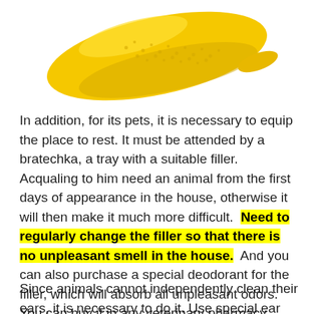[Figure (photo): A yellow rubber textured toy or chew object shaped like a curved banana or elongated oval, photographed on white background, partially cropped at top.]
In addition, for its pets, it is necessary to equip the place to rest. It must be attended by a bratechka, a tray with a suitable filler. Acqualing to him need an animal from the first days of appearance in the house, otherwise it will then make it much more difficult. Need to regularly change the filler so that there is no unpleasant smell in the house. And you can also purchase a special deodorant for the filler, which will absorb all unpleasant odors. You can buy it in any veterinary pharmacy.
Since animals cannot independently clean their ears, it is necessary to do it. Use special ear sticks. In addition,